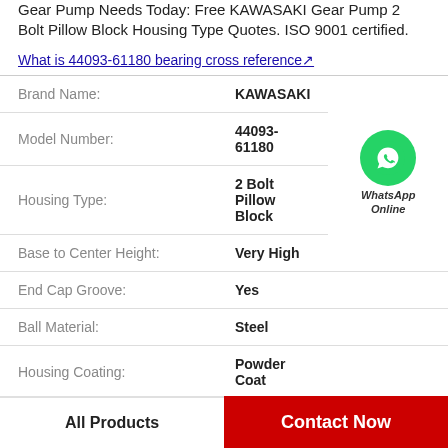Gear Pump Needs Today: Free KAWASAKI Gear Pump 2 Bolt Pillow Block Housing Type Quotes. ISO 9001 certified.
What is 44093-61180 bearing cross reference↗
| Property | Value |
| --- | --- |
| Brand Name: | KAWASAKI |
| Model Number: | 44093-61180 |
| Housing Type: | 2 Bolt Pillow Block |
| Base to Center Height: | Very High |
| End Cap Groove: | Yes |
| Ball Material: | Steel |
| Housing Coating: | Powder Coat |
All Products
Contact Now